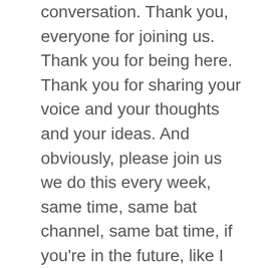conversation. Thank you, everyone for joining us. Thank you for being here. Thank you for sharing your voice and your thoughts and your ideas. And obviously, please join us we do this every week, same time, same bat channel, same bat time, if you're in the future, like I am in the in Australia, it's Tuesday mornings at 7am Brisbane time and if you're in the past in North America, it is 2pm pacific time that we do this podcasting for business, we talk about different things and different topics around podcasting for business. So join us follow the club, and we will see you on the other side. Thanks. Thanks for being here. All right. So you still till the end, you found this useful, and you have a business. And, Paul, you have a podcast and a business. And you kind of want to make it work for you and